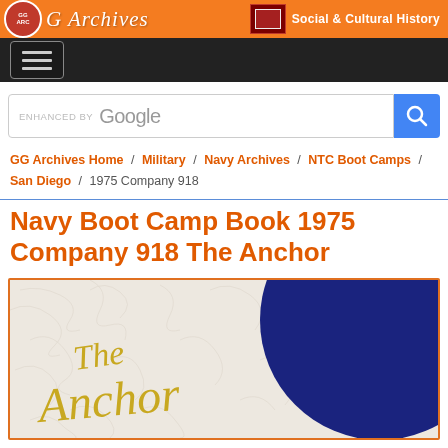GG Archives – Social & Cultural History
Navigation menu
ENHANCED BY Google [search bar]
GG Archives Home / Military / Navy Archives / NTC Boot Camps / San Diego / 1975 Company 918
Navy Boot Camp Book 1975 Company 918 The Anchor
[Figure (photo): Cover of 'The Anchor' Navy Boot Camp Book 1975 Company 918, showing a white textured background with a large navy blue circle and gold cursive text reading 'The Anchor']